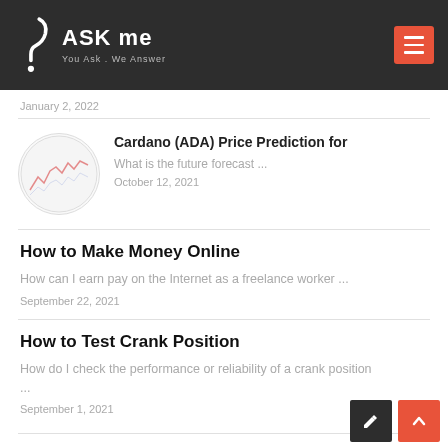ASK me — You Ask . We Answer
January 2, 2022
Cardano (ADA) Price Prediction for
What is the future forecast ...
October 12, 2021
How to Make Money Online
How can I earn pay on the Internet as a freelance worker ...
September 22, 2021
How to Test Crank Position
How do I check the performance or reliability of a crank position ...
September 1, 2021